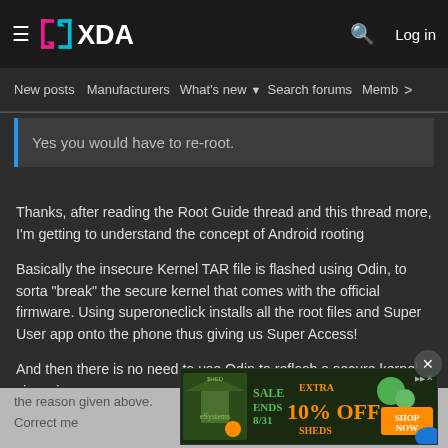≡  XDA  🔍  Log in
New posts  Manufacturers  What's new ▾  Search forums  Membe  >
Yes you would have to re-root.
Thanks, after reading the Root Guide thread and this thread more, I'm getting to understand the concept of Android rooting
Basically the insecure Kernel TAR file is flashed using Odin, to sorta "break" the secure kernel that comes with the official firmware. Using superoneclick installs all the root files and Super User app onto the phone thus giving us Super Access!
And then there is no need to use Odin to reflash a secure kernel viz a viz the reason given above.
Correct me...
[Figure (screenshot): Advertisement banner: SALE ENDS 8/31 EXTRA 10% OFF SHEDS SHOP NOW]